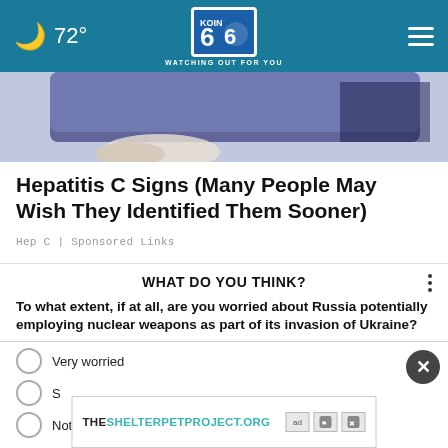🌙 72° | KOIN 6 | WATCHING OUT FOR YOU
[Figure (illustration): Partial illustration showing hands and a dark navy surface, likely a medical or editorial illustration]
Hepatitis C Signs (Many People May Wish They Identified Them Sooner)
Hep C | Sponsored Links
WHAT DO YOU THINK?
To what extent, if at all, are you worried about Russia potentially employing nuclear weapons as part of its invasion of Ukraine?
Very worried
S[omewhat worried]
Not at all worried
[Figure (screenshot): Ad banner: THESHELTERPETPROJECT.ORG with ad icons]